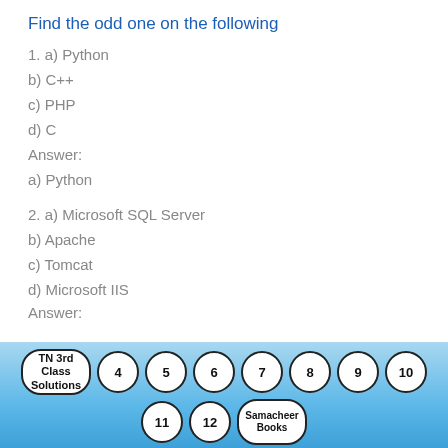Find the odd one on the following
1. a) Python
b) C++
c) PHP
d) C
Answer:
a) Python
2. a) Microsoft SQL Server
b) Apache
c) Tomcat
d) Microsoft IIS
Answer:
TN 3rd Class Solutions  4  5  6  7  8  9  10  11  12  Samacheer Books